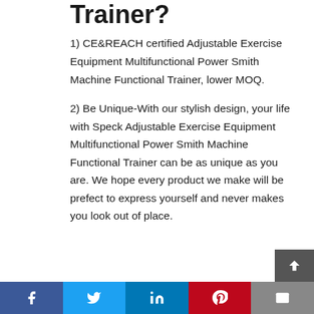Trainer?
1) CE&REACH certified Adjustable Exercise Equipment Multifunctional Power Smith Machine Functional Trainer, lower MOQ.
2) Be Unique-With our stylish design, your life with Speck Adjustable Exercise Equipment Multifunctional Power Smith Machine Functional Trainer can be as unique as you are. We hope every product we make will be prefect to express yourself and never makes you look out of place.
Social share bar: Facebook, Twitter, LinkedIn, Pinterest, Email